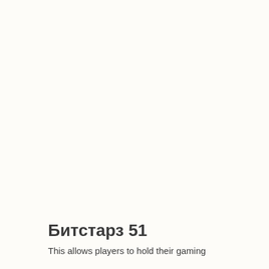Битстарз 51
This allows players to hold their gaming